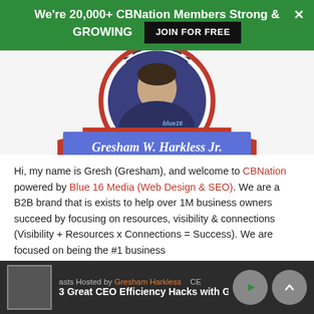We're 20,000+ CBNation Members Strong & GROWING  JOIN FOR FREE
[Figure (photo): Profile badge of Gresham W. Harkless Jr. — a navy blue starburst badge with a circular portrait photo and a red ribbon banner with blue overlay showing the name 'Gresham W. Harkless Jr.']
Hi, my name is Gresh (Gresham), and welcome to CBNation powered by Blue 16 Media (Web Design & SEO). We are a B2B brand that is exists to help over 1M business owners succeed by focusing on resources, visibility & connections (Visibility + Resources x Connections = Success). We are focused on being the #1 business
asts Hosted by Gresham Harkless  CE  3 Great CEO Efficiency Hacks with G